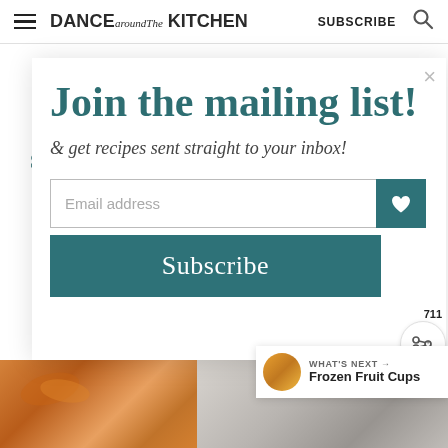DANCE around the KITCHEN   SUBSCRIBE
Join the mailing list!
& get recipes sent straight to your inbox!
Email address
Subscribe
711
WHAT'S NEXT → Frozen Fruit Cups
[Figure (photo): Food photos at bottom of page: left shows orange/glazed carrots, right shows a white dish on wooden surface]